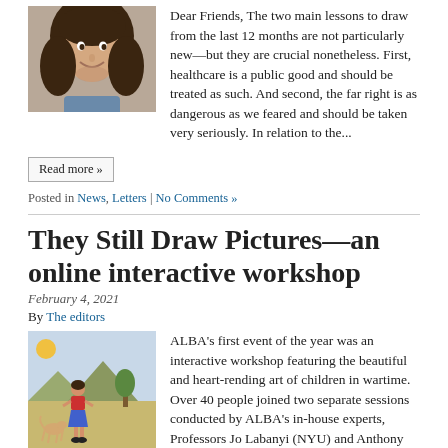[Figure (photo): Headshot of a smiling man with long dark hair]
Dear Friends, The two main lessons to draw from the last 12 months are not particularly new—but they are crucial nonetheless. First, healthcare is a public good and should be treated as such. And second, the far right is as dangerous as we feared and should be taken very seriously. In relation to the...
Read more »
Posted in News, Letters | No Comments »
They Still Draw Pictures—an online interactive workshop
February 4, 2021
By The editors
[Figure (illustration): Children's drawing of a figure in a landscape with animals]
ALBA's first event of the year was an interactive workshop featuring the beautiful and heart-rending art of children in wartime. Over 40 people joined two separate sessions conducted by ALBA's in-house experts, Professors Jo Labanyi (NYU) and Anthony Geist (University of Washington). More information on the exhibit can be found here on ALBA's website.
Read more »
Posted in News, No Comments